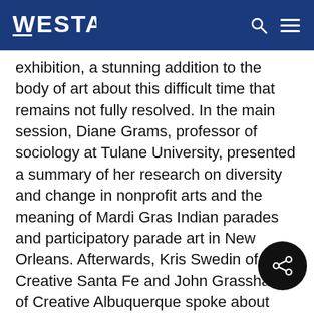WESTAF
exhibition, a stunning addition to the body of art about this difficult time that remains not fully resolved. In the main session, Diane Grams, professor of sociology at Tulane University, presented a summary of her research on diversity and change in nonprofit arts and the meaning of Mardi Gras Indian parades and participatory parade art in New Orleans. Afterwards, Kris Swedin of Creative Santa Fe and John Grassham of Creative Albuquerque spoke about their work and the challenges they face providing leadership for arts and culture based community and economic development. The directors also discussed ways to use the WESTAF Resolutions Project to best encourage change in their states and heard a report about the results of the Wallace Foundation leadership project managed by Kris Tucker, executive director of Washington's state arts